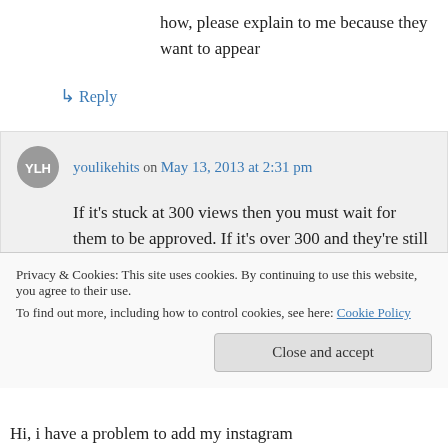how, please explain to me because they want to appear
↳ Reply
youlikehits on May 13, 2013 at 2:31 pm
If it's stuck at 300 views then you must wait for them to be approved. If it's over 300 and they're still not showing up then YouTube did not approve them.
Privacy & Cookies: This site uses cookies. By continuing to use this website, you agree to their use.
To find out more, including how to control cookies, see here: Cookie Policy
Close and accept
Hi, i have a problem to add my instagram